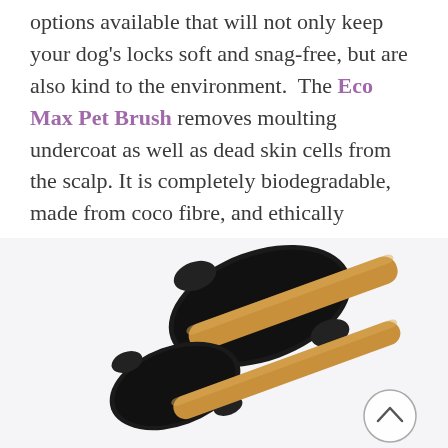options available that will not only keep your dog's locks soft and snag-free, but are also kind to the environment. The Eco Max Pet Brush removes moulting undercoat as well as dead skin cells from the scalp. It is completely biodegradable, made from coco fibre, and ethically sourced. Highly recommend this one.
[Figure (photo): Two Eco Max Pet Brushes with dark black bristles and wooden handles laid on a white/light grey background. A circular scroll-up button with a chevron icon is visible in the bottom right corner.]